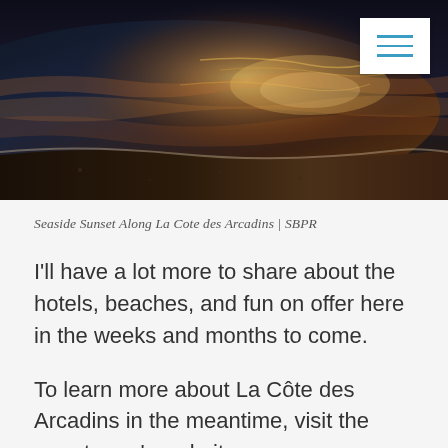[Figure (photo): Seaside sunset photograph along La Cote des Arcadins showing golden light reflecting on ocean waves washing onto a dark sandy beach, with a hamburger menu button in the upper right corner]
Seaside Sunset Along La Cote des Arcadins | SBPR
I'll have a lot more to share about the hotels, beaches, and fun on offer here in the weeks and months to come.
To learn more about La Côte des Arcadins in the meantime, visit the resort area's website.